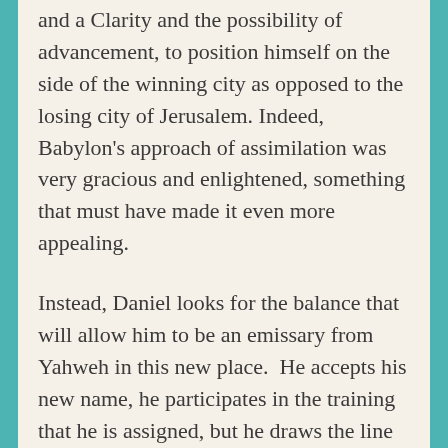and a Clarity and the possibility of advancement, to position himself on the side of the winning city as opposed to the losing city of Jerusalem. Indeed, Babylon’s approach of assimilation was very gracious and enlightened, something that must have made it even more appealing.
Instead, Daniel looks for the balance that will allow him to be an emissary from Yahweh in this new place.  He accepts his new name, he participates in the training that he is assigned, but he draws the line at violating the Jewish law about diet. It’s a little unclear just what it was about the rich food that was a violation – possibly alcohol for one thing, or the meat